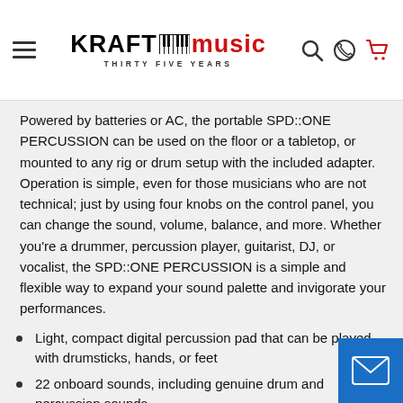Kraft Music – Thirty Five Years (navigation header with hamburger, logo, search, phone, cart icons)
Powered by batteries or AC, the portable SPD::ONE PERCUSSION can be used on the floor or a tabletop, or mounted to any rig or drum setup with the included adapter. Operation is simple, even for those musicians who are not technical; just by using four knobs on the control panel, you can change the sound, volume, balance, and more. Whether you're a drummer, percussion player, guitarist, DJ, or vocalist, the SPD::ONE PERCUSSION is a simple and flexible way to expand your sound palette and invigorate your performances.
Light, compact digital percussion pad that can be played with drumsticks, hands, or feet
22 onboard sounds, including genuine drum and percussion sounds
Import your own WAV data via USB to one of the 12 sound banks
Edit and control your sounds easily with just four knobs